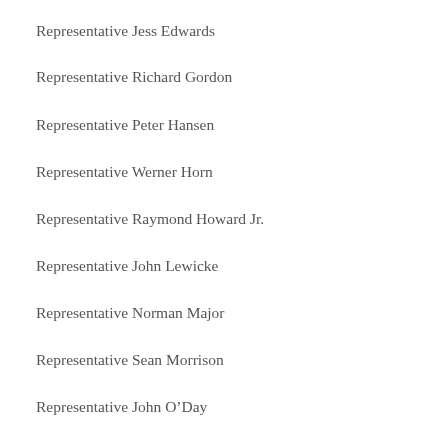Representative Jess Edwards
Representative Richard Gordon
Representative Peter Hansen
Representative Werner Horn
Representative Raymond Howard Jr.
Representative John Lewicke
Representative Norman Major
Representative Sean Morrison
Representative John O’Day